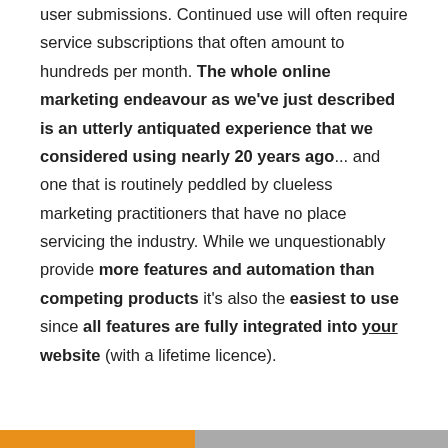user submissions. Continued use will often require service subscriptions that often amount to hundreds per month. The whole online marketing endeavour as we've just described is an utterly antiquated experience that we considered using nearly 20 years ago... and one that is routinely peddled by clueless marketing practitioners that have no place servicing the industry. While we unquestionably provide more features and automation than competing products it's also the easiest to use since all features are fully integrated into your website (with a lifetime licence).